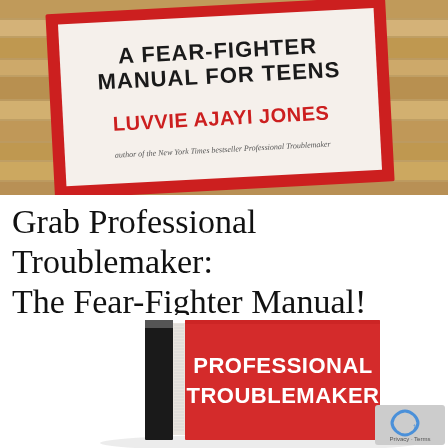[Figure (photo): Photo of a book titled 'A Fear-Fighter Manual for Teens' by Luvvie Ajayi Jones, author of the New York Times bestseller Professional Troublemaker. The book cover is white with a red border, displayed on a wooden surface.]
Grab Professional Troublemaker: The Fear-Fighter Manual!
[Figure (photo): Photo of a red hardcover book titled 'Professional Troublemaker' standing upright, showing the spine and front cover with white bold text.]